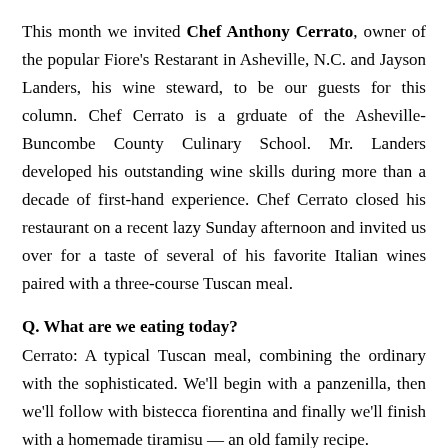This month we invited Chef Anthony Cerrato, owner of the popular Fiore's Restarant in Asheville, N.C. and Jayson Landers, his wine steward, to be our guests for this column. Chef Cerrato is a grduate of the Asheville-Buncombe County Culinary School. Mr. Landers developed his outstanding wine skills during more than a decade of first-hand experience. Chef Cerrato closed his restaurant on a recent lazy Sunday afternoon and invited us over for a taste of several of his favorite Italian wines paired with a three-course Tuscan meal.
Q. What are we eating today?
Cerrato: A typical Tuscan meal, combining the ordinary with the sophisticated. We'll begin with a panzenilla, then we'll follow with bistecca fiorentina and finally we'll finish with a homemade tiramisu — an old family recipe.
Q. Can you explain the dishes to our readers?
Cerrato: Panzenilla is a peasant dish: sliced bread soaked in